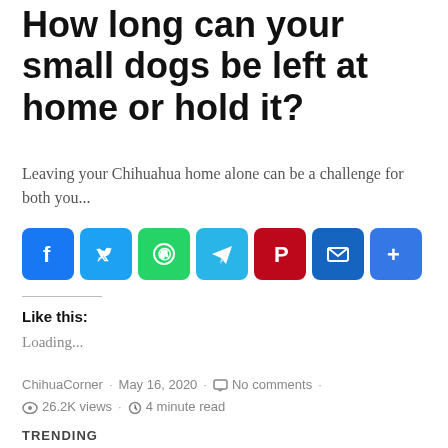How long can your small dogs be left at home or hold it?
Leaving your Chihuahua home alone can be a challenge for both you...
[Figure (infographic): Social media share buttons: Facebook (blue), Twitter (light blue), WhatsApp (green), Telegram (cyan), Pinterest (dark red), Email (dark blue), Share/More (blue)]
Like this:
Loading...
ChihuaCorner · May 16, 2020 · No comments · 26.2K views · 4 minute read
TRENDING